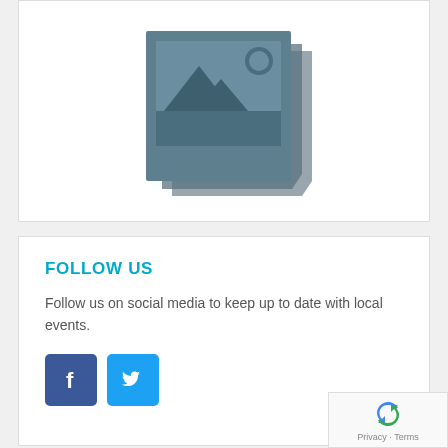[Figure (illustration): A stacked photo/image placeholder icon showing multiple overlapping image frames with a mountain landscape and sun symbol, rendered in muted teal/slate color.]
FOLLOW US
Follow us on social media to keep up to date with local events.
[Figure (infographic): Facebook icon button (blue square with white F logo) and Twitter icon button (light blue square with white bird logo)]